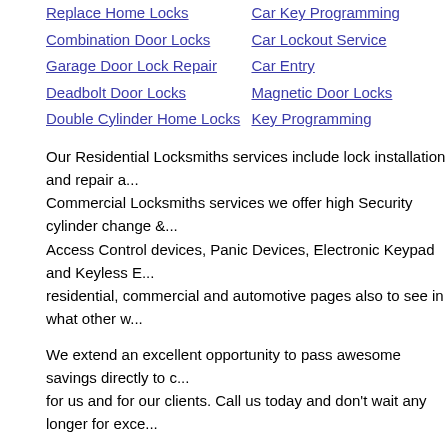Replace Home Locks
Car Key Programming
Combination Door Locks
Car Lockout Service
Garage Door Lock Repair
Car Entry
Deadbolt Door Locks
Magnetic Door Locks
Double Cylinder Home Locks
Key Programming
Our Residential Locksmiths services include lock installation and repair a... Commercial Locksmiths services we offer high Security cylinder change &... Access Control devices, Panic Devices, Electronic Keypad and Keyless E... residential, commercial and automotive pages also to see in what other w...
We extend an excellent opportunity to pass awesome savings directly to c... for us and for our clients. Call us today and don't wait any longer for exce...
Our Partners: Residential
Home | Residential | Automotive | Commercia... © 2012 Denver Laser Key ...